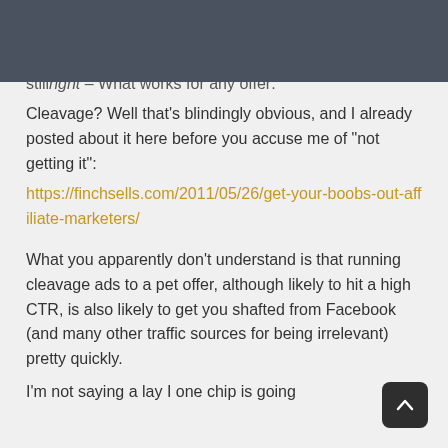FINCH SELLS
still right – What works for any offer: Cleavage? Well that's blindingly obvious, and I already posted about it here before you accuse me of "not getting it":
https://finchsells.com/2011/05/26/get-your-boobs-out-affiliate-marketers/
What you apparently don't understand is that running cleavage ads to a pet offer, although likely to hit a high CTR, is also likely to get you shafted from Facebook (and many other traffic sources for being irrelevant) pretty quickly.
I'm not saying a lay I one chip is going